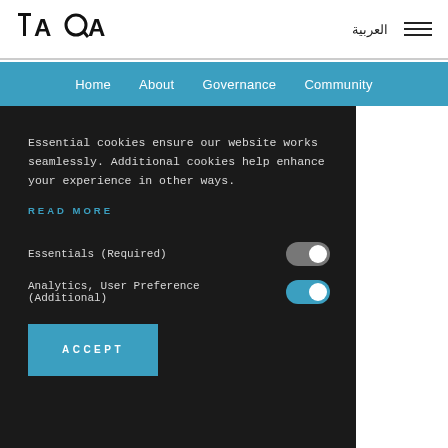[Figure (logo): TAQA logo with stylized letters T, A, Q, A in black]
العربية  ☰
Home  About  Governance  Community
Essential cookies ensure our website works seamlessly. Additional cookies help enhance your experience in other ways.
READ MORE
Essentials (Required)
Analytics, User Preference (Additional)
ACCEPT